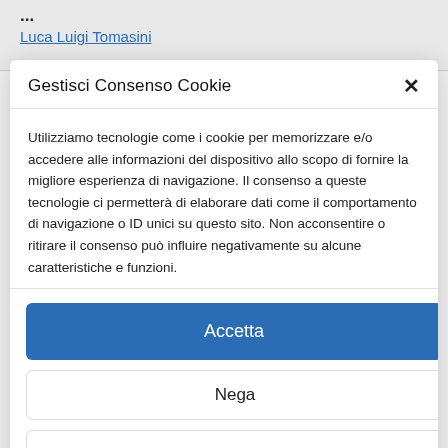Luca Luigi Tomasini
Gestisci Consenso Cookie
Utilizziamo tecnologie come i cookie per memorizzare e/o accedere alle informazioni del dispositivo allo scopo di fornire la migliore esperienza di navigazione. Il consenso a queste tecnologie ci permetterà di elaborare dati come il comportamento di navigazione o ID unici su questo sito. Non acconsentire o ritirare il consenso può influire negativamente su alcune caratteristiche e funzioni.
Accetta
Nega
Visualizza le preferenze
Cookie Policy   Informativa Privacy